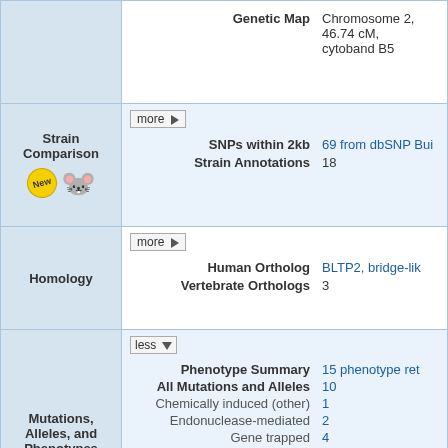| Section | Controls | Field | Value |
| --- | --- | --- | --- |
|  |  | Genetic Map | Chromosome 2, 46.74 cM, cytoband B5 |
| Strain Comparison | more ▶ | SNPs within 2kb | 69 from dbSNP Bui... |
| Strain Comparison |  | Strain Annotations | 18 |
| Homology | more ▶ | Human Ortholog | BLTP2, bridge-lik... |
| Homology |  | Vertebrate Orthologs | 3 |
| Mutations, Alleles, and Phenotypes | less ▼ | Phenotype Summary | 15 phenotype ret... |
| Mutations, Alleles, and Phenotypes |  | All Mutations and Alleles | 10 |
| Mutations, Alleles, and Phenotypes |  | Chemically induced (other) | 1 |
| Mutations, Alleles, and Phenotypes |  | Endonuclease-mediated | 2 |
| Mutations, Alleles, and Phenotypes |  | Gene trapped | 4 |
| Mutations, Alleles, and Phenotypes |  | Targeted | 3 |
| Mutations, Alleles, and Phenotypes |  | Genomic Mutations | 2 involving Bltp2 |
| Mutations, Alleles, and Phenotypes |  | Incidental Mutations | Mutagenetix , AP... |
| Mutations, Alleles, and Phenotypes |  | Find Mice (IMSR) | 54 strains or line available |